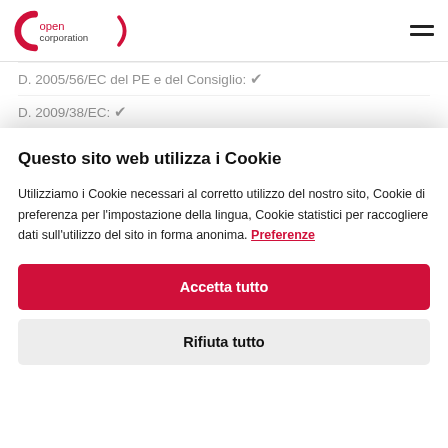opencorporation — navigation header with logo and hamburger menu
D. 2005/56/EC del PE e del Consiglio: ✔
D. 2009/38/EC: ✔
D. 2004/25/EC: ✔
D. 2011/35/EU: ✔
Questo sito web utilizza i Cookie
Utilizziamo i Cookie necessari al corretto utilizzo del nostro sito, Cookie di preferenza per l'impostazione della lingua, Cookie statistici per raccogliere dati sull'utilizzo del sito in forma anonima. Preferenze
Accetta tutto
Rifiuta tutto
The Worlds Most Innovative Companies: N/D